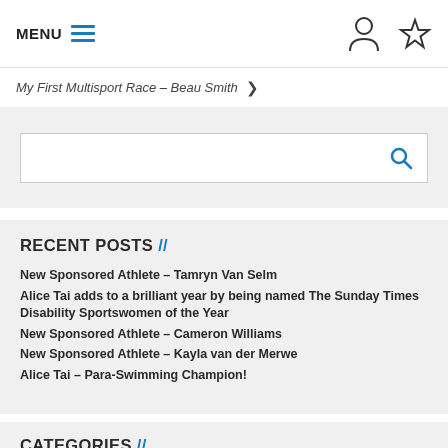MENU
My First Multisport Race – Beau Smith
[Figure (screenshot): Search input box with magnifying glass icon]
RECENT POSTS //
New Sponsored Athlete – Tamryn Van Selm
Alice Tai adds to a brilliant year by being named The Sunday Times Disability Sportswomen of the Year
New Sponsored Athlete – Cameron Williams
New Sponsored Athlete – Kayla van der Merwe
Alice Tai – Para-Swimming Champion!
CATEGORIES //